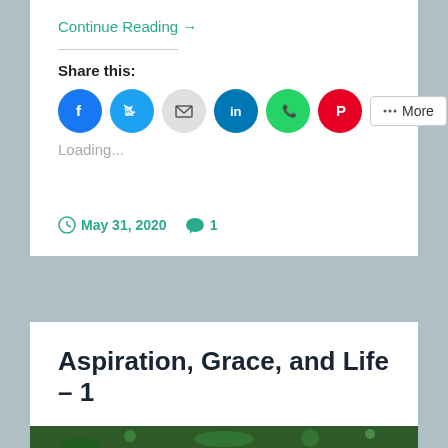Continue Reading →
Share this:
[Figure (infographic): Social share buttons: Facebook (blue circle), Twitter (light blue circle), Email (gray circle), LinkedIn (dark blue circle), WhatsApp (green circle), Pinterest (red circle), and a More button]
Loading...
May 31, 2020   1
Aspiration, Grace, and Life – 1
[Figure (photo): Green plant/foliage photo at the bottom of the page]